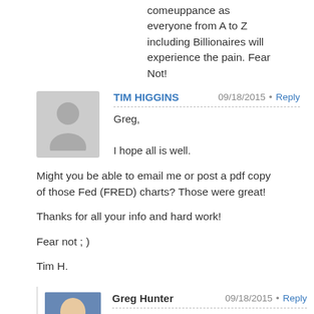comeuppance as everyone from A to Z including Billionaires will experience the pain. Fear Not!
TIM HIGGINS   09/18/2015  Reply
Greg,

I hope all is well.
Might you be able to email me or post a pdf copy of those Fed (FRED) charts? Those were great!

Thanks for all your info and hard work!

Fear not ; )

Tim H.
Greg Hunter   09/18/2015  Reply
TIM,